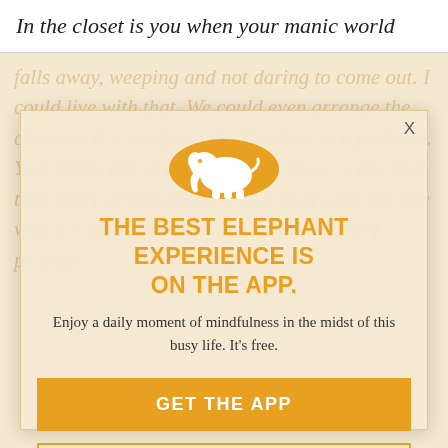In the closet is you when your manic world
[Figure (illustration): Orange circular logo with white elephant silhouette]
THE BEST ELEPHANT EXPERIENCE IS ON THE APP.
Enjoy a daily moment of mindfulness in the midst of this busy life. It's free.
GET THE APP
OPEN IN APP